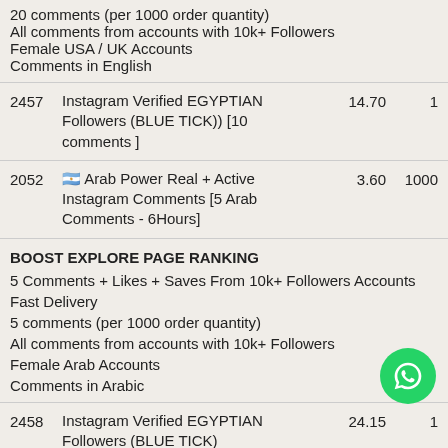20 comments (per 1000 order quantity)
All comments from accounts with 10k+ Followers
Female USA / UK Accounts
Comments in English
| ID | Description | Price | Qty |
| --- | --- | --- | --- |
| 2457 | Instagram Verified EGYPTIAN Followers (BLUE TICK)) [10 comments ] | 14.70 | 1 |
| 2052 | 🇦🇷 Arab Power Real + Active Instagram Comments [5 Arab Comments - 6Hours] | 3.60 | 1000 |
BOOST EXPLORE PAGE RANKING
5 Comments + Likes + Saves From 10k+ Followers Accounts
Fast Delivery
5 comments (per 1000 order quantity)
All comments from accounts with 10k+ Followers
Female Arab Accounts
Comments in Arabic
| ID | Description | Price | Qty |
| --- | --- | --- | --- |
| 2458 | Instagram Verified EGYPTIAN Followers (BLUE TICK) | 24.15 | 1 |